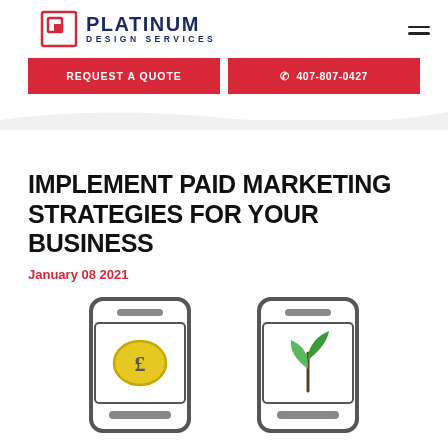[Figure (logo): Platinum Design Services logo with red square icon and dark blue text]
REQUEST A QUOTE
407-807-0427
IMPLEMENT PAID MARKETING STRATEGIES FOR YOUR BUSINESS
January 08 2021
[Figure (illustration): Two smartphone icons: one showing a pound currency coin, one showing a green plant/growth icon]